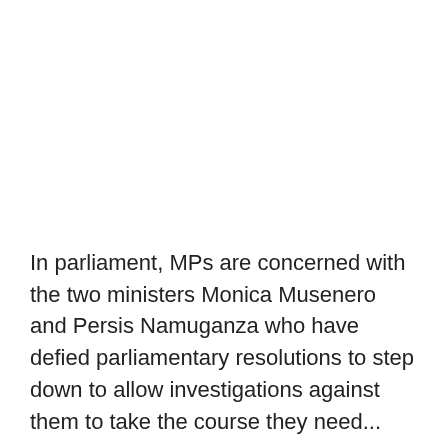In parliament, MPs are concerned with the two ministers Monica Musenero and Persis Namuganza who have defied parliamentary resolutions to step down to allow investigations against them to take the course they need...